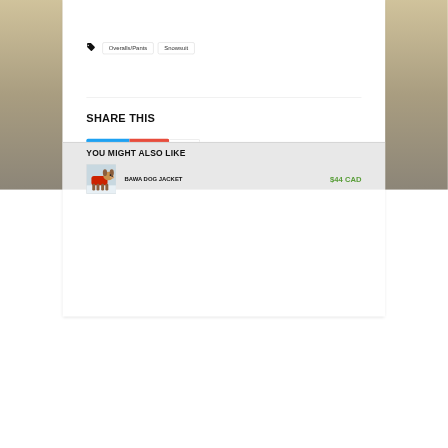Overalls/Pants  Snowsuit
SHARE THIS
[Figure (screenshot): Tweet button (blue) and Share button (red/orange) with count badge showing 4]
YOU MIGHT ALSO LIKE
[Figure (photo): Small dog wearing a red jacket standing in snow]
BAWA DOG JACKET
$44 CAD